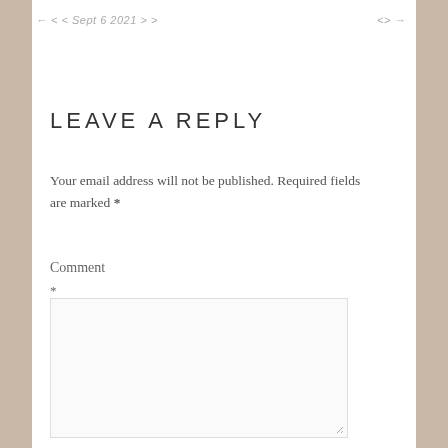← < < Sept 6 2021 > > <> →
LEAVE A REPLY
Your email address will not be published. Required fields are marked *
Comment *